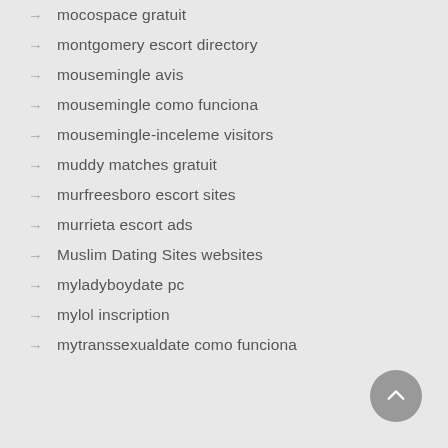mocospace gratuit
montgomery escort directory
mousemingle avis
mousemingle como funciona
mousemingle-inceleme visitors
muddy matches gratuit
murfreesboro escort sites
murrieta escort ads
Muslim Dating Sites websites
myladyboydate pc
mylol inscription
mytranssexualdate como funciona